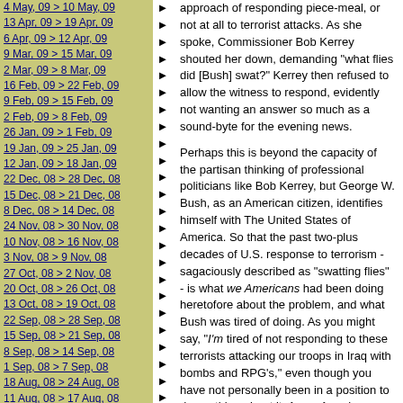4 May, 09 > 10 May, 09
13 Apr, 09 > 19 Apr, 09
6 Apr, 09 > 12 Apr, 09
9 Mar, 09 > 15 Mar, 09
2 Mar, 09 > 8 Mar, 09
16 Feb, 09 > 22 Feb, 09
9 Feb, 09 > 15 Feb, 09
2 Feb, 09 > 8 Feb, 09
26 Jan, 09 > 1 Feb, 09
19 Jan, 09 > 25 Jan, 09
12 Jan, 09 > 18 Jan, 09
22 Dec, 08 > 28 Dec, 08
15 Dec, 08 > 21 Dec, 08
8 Dec, 08 > 14 Dec, 08
24 Nov, 08 > 30 Nov, 08
10 Nov, 08 > 16 Nov, 08
3 Nov, 08 > 9 Nov, 08
27 Oct, 08 > 2 Nov, 08
20 Oct, 08 > 26 Oct, 08
13 Oct, 08 > 19 Oct, 08
22 Sep, 08 > 28 Sep, 08
15 Sep, 08 > 21 Sep, 08
8 Sep, 08 > 14 Sep, 08
1 Sep, 08 > 7 Sep, 08
18 Aug, 08 > 24 Aug, 08
11 Aug, 08 > 17 Aug, 08
28 Jul, 08 > 3 Aug, 08
21 Jul, 08 > 27 Jul, 08
30 Jun, 08 > 6 Jul, 08
approach of responding piece-meal, or not at all to terrorist attacks. As she spoke, Commissioner Bob Kerrey shouted her down, demanding "what flies did [Bush] swat?" Kerrey then refused to allow the witness to respond, evidently not wanting an answer so much as a sound-byte for the evening news.
Perhaps this is beyond the capacity of the partisan thinking of professional politicians like Bob Kerrey, but George W. Bush, as an American citizen, identifies himself with The United States of America. So that the past two-plus decades of U.S. response to terrorism - sagaciously described as "swatting flies" - is what we Americans had been doing heretofore about the problem, and what Bush was tired of doing. As you might say, "I'm tired of not responding to these terrorists attacking our troops in Iraq with bombs and RPG's," even though you have not personally been in a position to do anything about it. As an American you identify with our nation's efforts. President Bush, at last in a position to shape policy, acted to change what we Americans would do henceforth.
For those who think of themselves first by Party affiliation, and only second, third or...